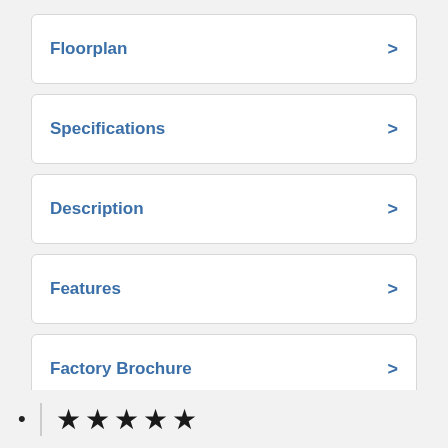Floorplan
Specifications
Description
Features
Factory Brochure
[Figure (other): Five black star rating icons in a row, next to a bullet point and vertical divider line]